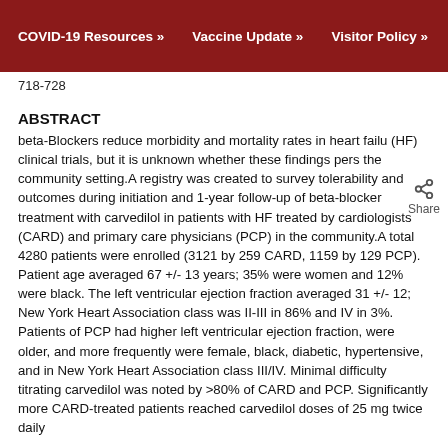COVID-19 Resources »   Vaccine Update »   Visitor Policy »
718-728
ABSTRACT
beta-Blockers reduce morbidity and mortality rates in heart failu (HF) clinical trials, but it is unknown whether these findings pers the community setting.A registry was created to survey tolerability and outcomes during initiation and 1-year follow-up of beta-blocker treatment with carvedilol in patients with HF treated by cardiologists (CARD) and primary care physicians (PCP) in the community.A total 4280 patients were enrolled (3121 by 259 CARD, 1159 by 129 PCP). Patient age averaged 67 +/- 13 years; 35% were women and 12% were black. The left ventricular ejection fraction averaged 31 +/- 12; New York Heart Association class was II-III in 86% and IV in 3%. Patients of PCP had higher left ventricular ejection fraction, were older, and more frequently were female, black, diabetic, hypertensive, and in New York Heart Association class III/IV. Minimal difficulty titrating carvedilol was noted by >80% of CARD and PCP. Significantly more CARD-treated patients reached carvedilol doses of 25 mg twice daily